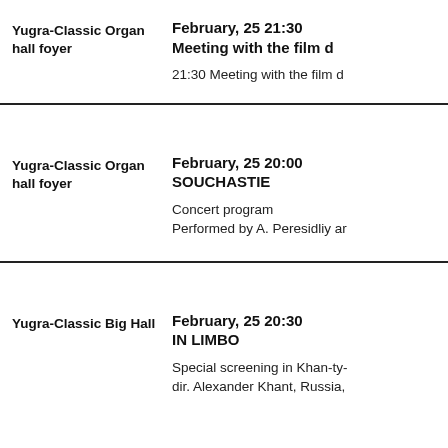| Venue | Event |
| --- | --- |
| Yugra-Classic Organ hall foyer | February, 25 21:30
Meeting with the film d
21:30 Meeting with the film d |
| Yugra-Classic Organ hall foyer | February, 25 20:00
SOUCHASTIE
Concert program
Performed by A. Peresidliy ar |
| Yugra-Classic Big Hall | February, 25 20:30
IN LIMBO
Special screening in Khan-ty-
dir. Alexander Khant, Russia, |